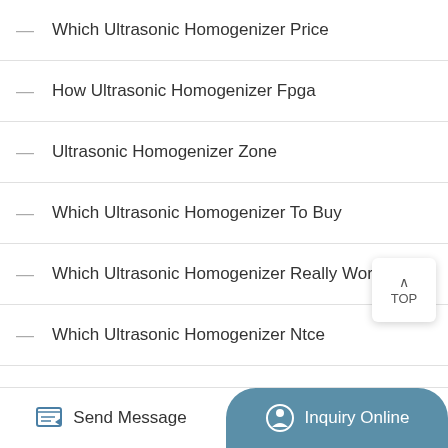Which Ultrasonic Homogenizer Price
How Ultrasonic Homogenizer Fpga
Ultrasonic Homogenizer Zone
Which Ultrasonic Homogenizer To Buy
Which Ultrasonic Homogenizer Really Work
Which Ultrasonic Homogenizer Ntce
Which Ultrasonic Homogenizer Better
How Ultrasonic Cell Crusher You Work
Ultrasonic Cell Crusher Alarm
Send Message | Inquiry Online